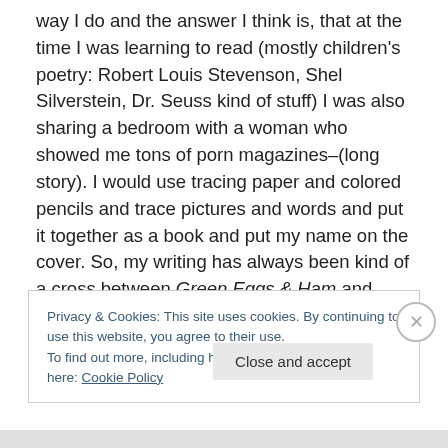way I do and the answer I think is, that at the time I was learning to read (mostly children's poetry: Robert Louis Stevenson, Shel Silverstein, Dr. Seuss kind of stuff) I was also sharing a bedroom with a woman who showed me tons of porn magazines–(long story). I would use tracing paper and colored pencils and trace pictures and words and put it together as a book and put my name on the cover. So, my writing has always been kind of a cross between Green Eggs & Ham and Playboy.
Over time I've taken in numerous influences– the best
Privacy & Cookies: This site uses cookies. By continuing to use this website, you agree to their use.
To find out more, including how to control cookies, see here: Cookie Policy